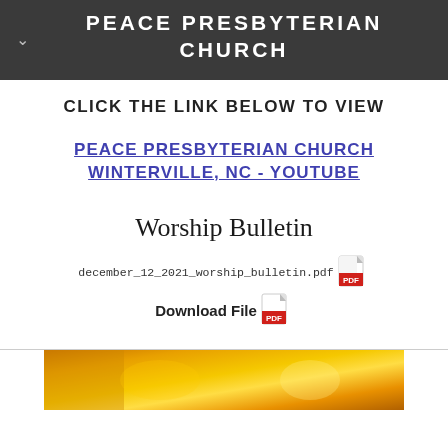PEACE PRESBYTERIAN CHURCH
CLICK THE LINK BELOW TO VIEW
PEACE PRESBYTERIAN CHURCH WINTERVILLE, NC - YOUTUBE
Worship Bulletin
december_12_2021_worship_bulletin.pdf  Download File
[Figure (photo): Bottom portion showing a golden/amber colored image, partially visible at bottom of page]